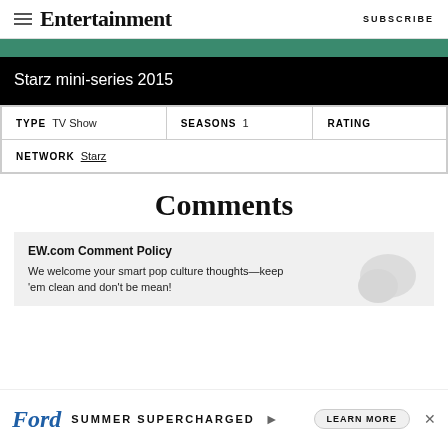Entertainment Weekly — SUBSCRIBE
[Figure (screenshot): Green decorative bar]
Starz mini-series 2015
| TYPE  TV Show | SEASONS  1 | RATING |
| NETWORK  Starz |  |  |
Comments
EW.com Comment Policy
We welcome your smart pop culture thoughts—keep 'em clean and don't be mean!
[Figure (screenshot): Ford Summer Supercharged advertisement banner with Learn More button]